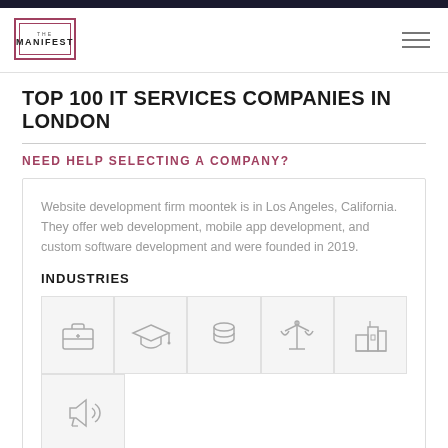THE MANIFEST
TOP 100 IT SERVICES COMPANIES IN LONDON
NEED HELP SELECTING A COMPANY?
Website development firm moontek is in Los Angeles, California. They offer web development, mobile app development, and custom software development and were founded in 2019.
INDUSTRIES
[Figure (infographic): Industry icons: briefcase, graduation cap, coins/finance, scales of justice, city buildings, megaphone/marketing]